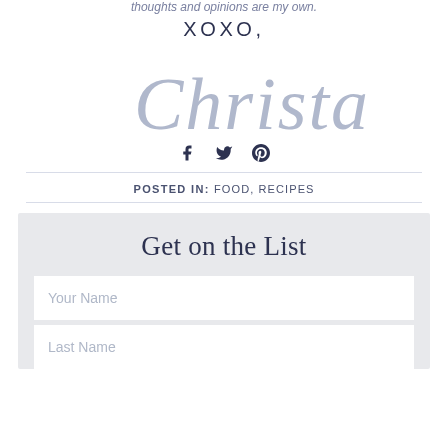thoughts and opinions are my own.
XOXO,
[Figure (illustration): Cursive script signature reading 'Christa' in light blue-grey color]
[Figure (infographic): Social media icons: Facebook, Twitter, Pinterest in dark navy]
POSTED IN: FOOD, RECIPES
Get on the List
Your Name
Last Name